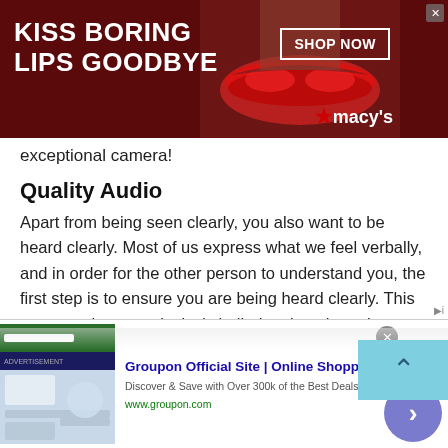[Figure (screenshot): Macy's advertisement banner: dark red background with 'KISS BORING LIPS GOODBYE' white text on left, woman's lips in center, 'SHOP NOW' button and Macy's logo on right.]
exceptional camera!
Quality Audio
Apart from being seen clearly, you also want to be heard clearly. Most of us express what we feel verbally, and in order for the other person to understand you, the first step is to ensure you are being heard clearly. This means using your device's built- in microphone is not an option!
Get your hands on a quality microphone. Make sure you research about the types of microphones that you can use
[Figure (screenshot): Groupon advertisement banner with thumbnail, title 'Groupon Official Site | Online Shopping Deals', description 'Discover & Save with Over 300k of the Best Deals', URL 'www.groupon.com', and a purple arrow button.]